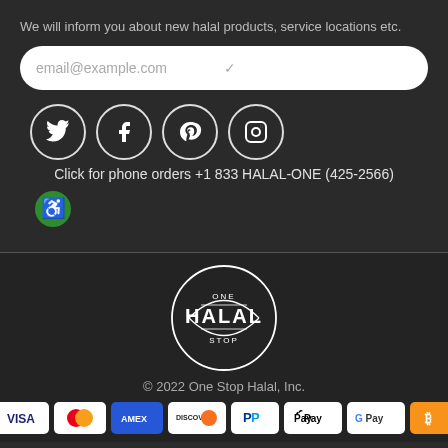We will inform you about new halal products, service locations etc.
[Figure (screenshot): Email input field with placeholder text email@example.com and a checkmark icon]
[Figure (infographic): Social media icons row: Twitter, Facebook, Pinterest, Instagram — circular white-border icons on dark background]
Click for phone orders +1 833 HALAL-ONE (425-2566)
[Figure (logo): Green circle accessibility icon (wheelchair symbol)]
[Figure (logo): One Halal Stop circular logo with text ONE HALAL STOP]
© 2022 One Stop Halal, Inc.
[Figure (infographic): Payment method icons: VISA, Mastercard, AMEX, Discover, PayPal, Apple Pay, Google Pay, Bitcoin]